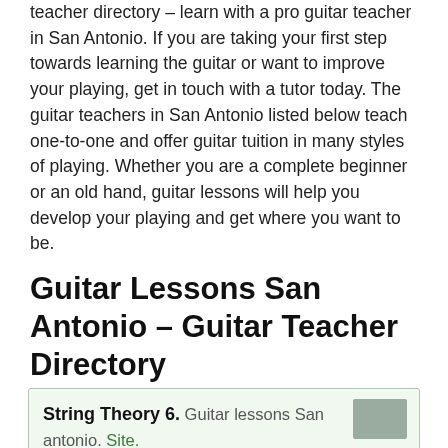teacher directory – learn with a pro guitar teacher in San Antonio. If you are taking your first step towards learning the guitar or want to improve your playing, get in touch with a tutor today. The guitar teachers in San Antonio listed below teach one-to-one and offer guitar tuition in many styles of playing. Whether you are a complete beginner or an old hand, guitar lessons will help you develop your playing and get where you want to be.
Guitar Lessons San Antonio – Guitar Teacher Directory
String Theory 6. Guitar lessons San antonio. Site.